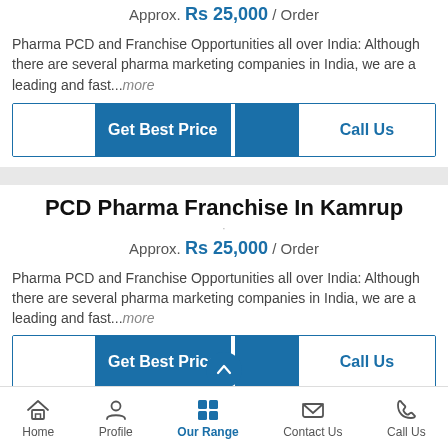Approx. Rs 25,000 / Order
Pharma PCD and Franchise Opportunities all over India: Although there are several pharma marketing companies in India, we are a leading and fast...more
[Figure (screenshot): Get Best Price and Call Us buttons row]
PCD Pharma Franchise In Kamrup
Approx. Rs 25,000 / Order
Pharma PCD and Franchise Opportunities all over India: Although there are several pharma marketing companies in India, we are a leading and fast...more
[Figure (screenshot): Get Best Price and Call Us buttons row (partial)]
Home   Profile   Our Range   Contact Us   Call Us